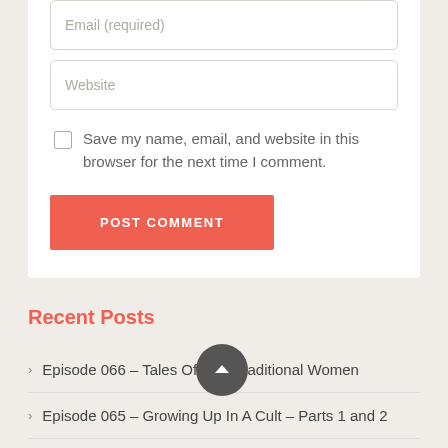Email (required)
Website
Save my name, email, and website in this browser for the next time I comment.
POST COMMENT
Recent Posts
Episode 066 – Tales Of Non-Traditional Women
Episode 065 – Growing Up In A Cult – Parts 1 and 2